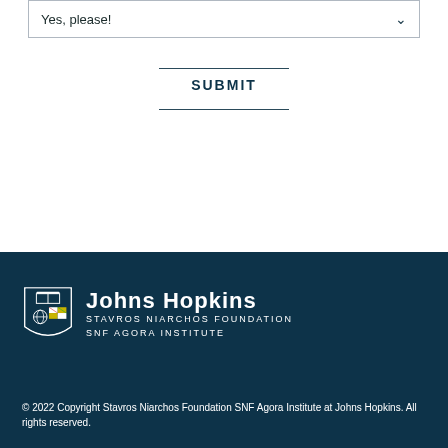Yes, please!
SUBMIT
[Figure (logo): Johns Hopkins Stavros Niarchos Foundation SNF Agora Institute logo with shield emblem]
© 2022 Copyright Stavros Niarchos Foundation SNF Agora Institute at Johns Hopkins. All rights reserved.